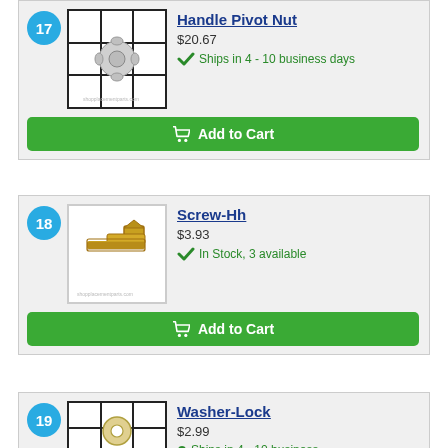17 - Handle Pivot Nut, $20.67, Ships in 4 - 10 business days
18 - Screw-Hh, $3.93, In Stock, 3 available
19 - Washer-Lock, $2.99, Ships in 4 - 10 business days